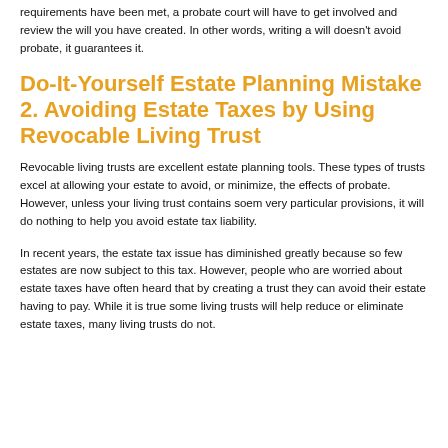requirements have been met, a probate court will have to get involved and review the will you have created. In other words, writing a will doesn't avoid probate, it guarantees it.
Do-It-Yourself Estate Planning Mistake 2. Avoiding Estate Taxes by Using Revocable Living Trust
Revocable living trusts are excellent estate planning tools. These types of trusts excel at allowing your estate to avoid, or minimize, the effects of probate. However, unless your living trust contains soem very particular provisions, it will do nothing to help you avoid estate tax liability.
In recent years, the estate tax issue has diminished greatly because so few estates are now subject to this tax. However, people who are worried about estate taxes have often heard that by creating a trust they can avoid their estate having to pay. While it is true some living trusts will help reduce or eliminate estate taxes, many living trusts do not.